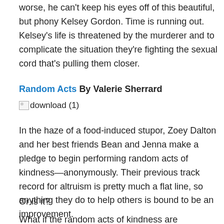worse, he can't keep his eyes off of this beautiful, but phony Kelsey Gordon. Time is running out. Kelsey's life is threatened by the murderer and to complicate the situation they're fighting the sexual cord that's pulling them closer.
Random Acts By Valerie Sherrard
[Figure (photo): Broken image thumbnail labeled 'download (1)']
In the haze of a food-induced stupor, Zoey Dalton and her best friends Bean and Jenna make a pledge to begin performing random acts of kindness—anonymously. Their previous track record for altruism is pretty much a flat line, so anything they do to help others is bound to be an improvement.
Or is it?
What if the random acts of kindness are unwanted and